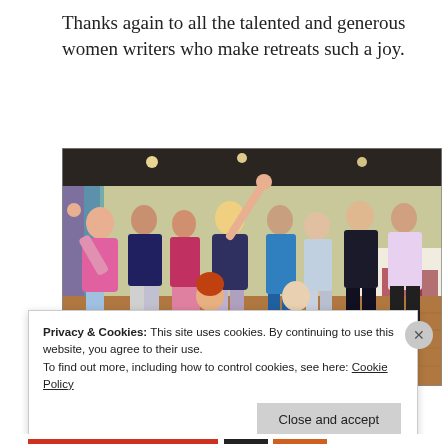Thanks again to all the talented and generous women writers who make retreats such a joy.
[Figure (photo): Group photo of approximately ten women in a function room/hall, posing energetically and joyfully, some with arms raised, laughing and smiling. The room has a wooden floor, dark ceiling with spotlights, and fabric draping to the left.]
Privacy & Cookies: This site uses cookies. By continuing to use this website, you agree to their use.
To find out more, including how to control cookies, see here: Cookie Policy
Close and accept